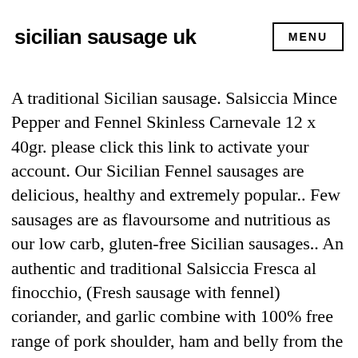sicilian sausage uk   MENU
A traditional Sicilian sausage. Salsiccia Mince Pepper and Fennel Skinless Carnevale 12 x 40gr. please click this link to activate your account. Our Sicilian Fennel sausages are delicious, healthy and extremely popular.. Few sausages are as flavoursome and nutritious as our low carb, gluten-free Sicilian sausages.. An authentic and traditional Salsiccia Fresca al finocchio, (Fresh sausage with fennel) coriander, and garlic combine with 100% free range of pork shoulder, ham and belly from the Landrace breed. Genuine HEALTHY Sausages & full-on provenance. There's only one good reason to make